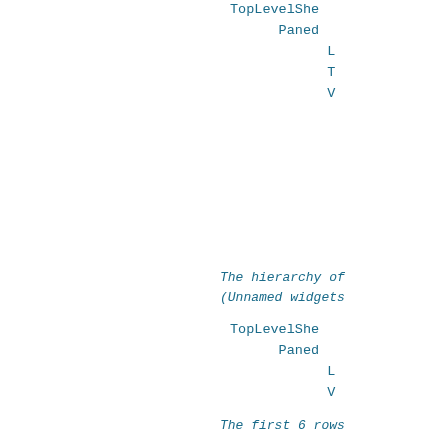TopLevelShe...
      Paned
            L...
            T...
            V...
The hierarchy of...
(Unnamed widgets...
TopLevelShe...
      Paned
            L...
            V...
The first 6 rows...